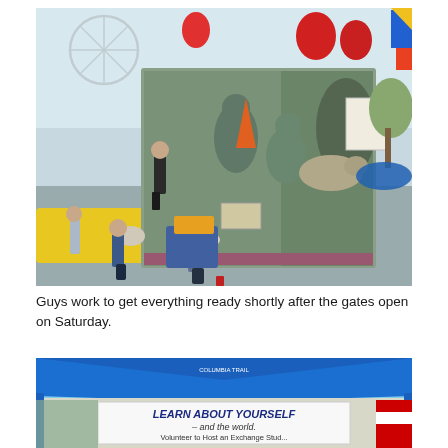[Figure (photo): Workers preparing an outdoor display or exhibit at a fairground. A large sculptural relief backdrop depicts figures and a large pine cone with wildlife (leopard). People are bending over to set up items in front of the display. Colorful fair rides and tents visible in background.]
Guys work to get everything ready shortly after the gates open on Saturday.
[Figure (photo): Blue canopy tent at a fairground with a banner reading 'LEARN ABOUT YOURSELF – and the world. Volunteer to Host an Exchange Student' partially visible at the bottom of the frame.]